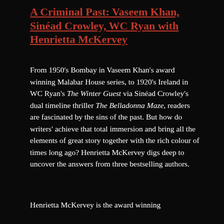A Criminal Past: Vaseem Khan, Sinéad Crowley, WC Ryan with Henrietta McKervey
From 1950's Bombay in Vaseem Khan's award winning Malabar House series, to 1920's Ireland in WC Ryan's The Winter Guest via Sinéad Crowley's dual timeline thriller The Belladonna Maze, readers are fascinated by the sins of the past. But how do writers' achieve that total immersion and bring all the elements of great story together with the rich colour of times long ago? Henrietta McKervey digs deep to uncover the answers from three bestselling authors.
Henrietta McKervey is the award winning